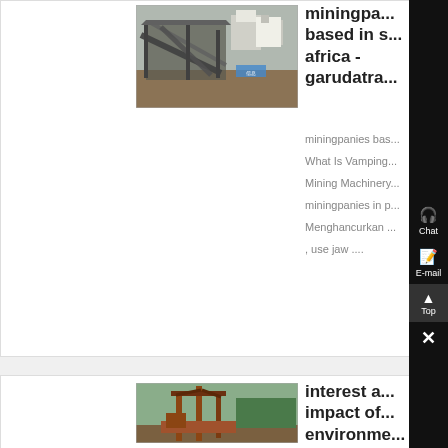[Figure (photo): Photo of a mining facility with large metal conveyor/screening structures, partially constructed buildings in background, earthen ground.]
miningpa... based in s... africa - garudatra...
miningpanies bas...
What Is Vamping...
Mining Machinery...
miningpanies in p...
Menghancurkan ...
, use jaw ....
[Figure (photo): Photo of heavy mining equipment/machinery outdoors with green trees in background.]
interest a... impact of... environme...